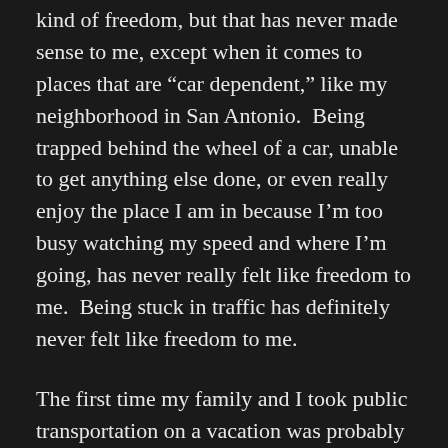kind of freedom, but that has never made sense to me, except when it comes to places that are "car dependent," like my neighborhood in San Antonio.  Being trapped behind the wheel of a car, unable to get anything else done, or even really enjoy the place I am in because I'm too busy watching my speed and where I'm going, has never really felt like freedom to me.  Being stuck in traffic has definitely never felt like freedom to me.
The first time my family and I took public transportation on a vacation was probably our trip to Washington DC.  We stayed in the suburbs and took the Metro into the city proper to do our sightseeing.  The next year, we